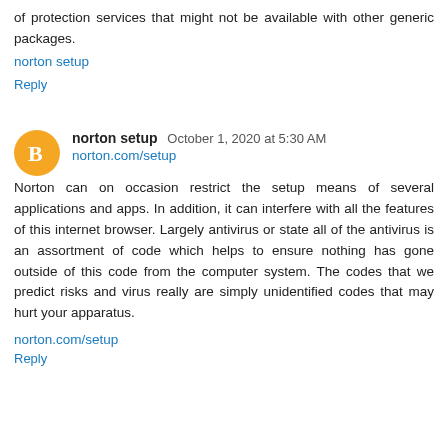of protection services that might not be available with other generic packages.
norton setup
Reply
norton setup  October 1, 2020 at 5:30 AM
norton.com/setup
Norton can on occasion restrict the setup means of several applications and apps. In addition, it can interfere with all the features of this internet browser. Largely antivirus or state all of the antivirus is an assortment of code which helps to ensure nothing has gone outside of this code from the computer system. The codes that we predict risks and virus really are simply unidentified codes that may hurt your apparatus.
norton.com/setup
Reply